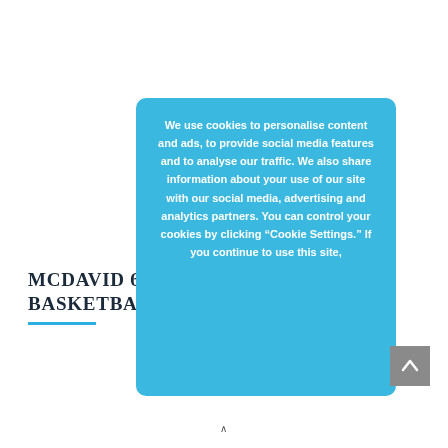MCDAVID 6540 HEX BASKETBALL LEG SLEEVES
We use cookies to personalise content and ads, to provide social media features and to analyse our traffic. We also share information about your use of our site with our social media, advertising and analytics partners. You can control your cookies by clicking "Cookie Settings." If you continue to use this site,